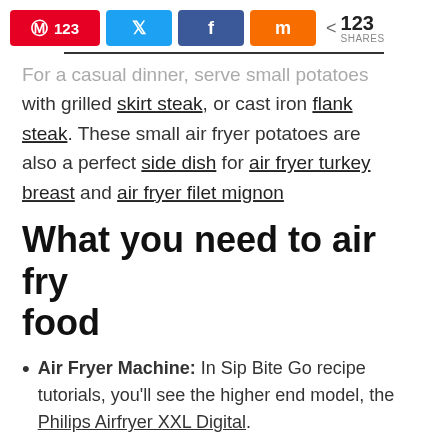[Figure (screenshot): Social share bar with Pinterest (123), Twitter, Facebook, Mix buttons and 123 SHARES count]
For a casual dinner, serve small potatoes with grilled skirt steak, or cast iron flank steak. These small air fryer potatoes are also a perfect side dish for air fryer turkey breast and air fryer filet mignon
What you need to air fry food
Air Fryer Machine: In Sip Bite Go recipe tutorials, you'll see the higher end model, the Philips Airfryer XXL Digital.